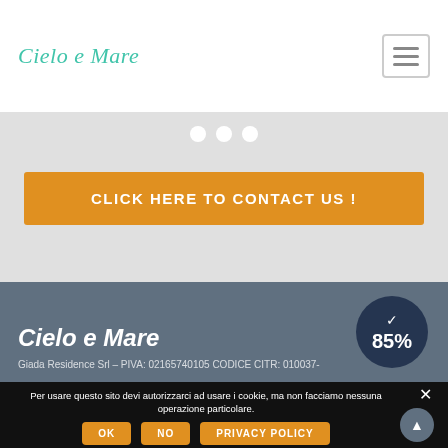Cielo e Mare
[Figure (screenshot): Orange CTA button with text CLICK HERE TO CONTACT US! on grey slider background with white dot indicators]
Cielo e Mare
Giada Residence Srl – PIVA: 02165740105 CODICE CITR: 010037-
Per usare questo sito devi autorizzarci ad usare i cookie, ma non facciamo nessuna operazione particolare.